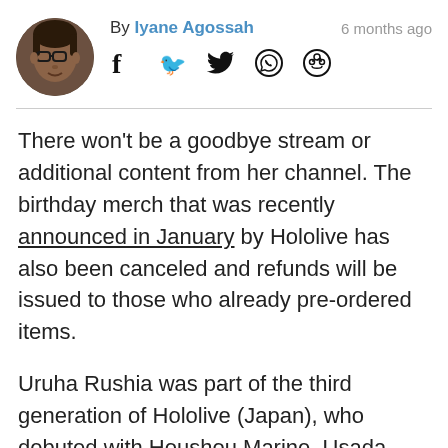By Iyane Agossah   6 months ago
There won't be a goodbye stream or additional content from her channel. The birthday merch that was recently announced in January by Hololive has also been canceled and refunds will be issued to those who already pre-ordered items.
Uruha Rushia was part of the third generation of Hololive (Japan), who debuted with Houshou Marine, Usada Pekora, Shiranui Flare, and Shirogane Noel. Rushia was active for two years and seven months and was one of the biggest talents at Hololive and one of the most popular YouTubers ever.